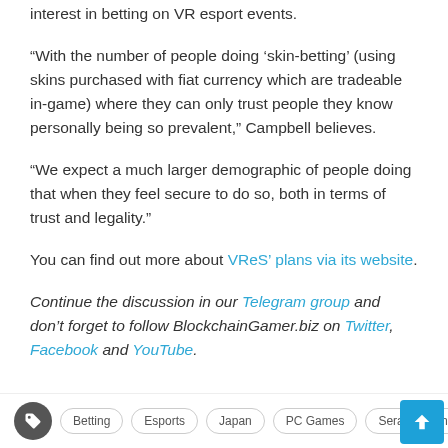interest in betting on VR esport events.
“With the number of people doing ‘skin-betting’ (using skins purchased with fiat currency which are tradeable in-game) where they can only trust people they know personally being so prevalent,” Campbell believes.
“We expect a much larger demographic of people doing that when they feel secure to do so, both in terms of trust and legality.”
You can find out more about VReS’ plans via its website.
Continue the discussion in our Telegram group and don’t forget to follow BlockchainGamer.biz on Twitter, Facebook and YouTube.
Betting
Esports
Japan
PC Games
Seralyn Campbell